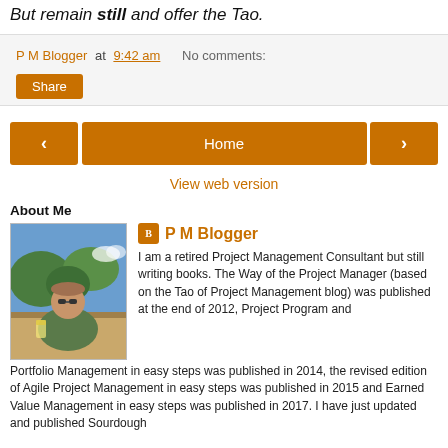But remain still and offer the Tao.
P M Blogger at 9:42 am   No comments:
Share
‹   Home   ›
View web version
About Me
[Figure (photo): Photo of P M Blogger, an older man sitting outdoors with a drink, trees and sky visible in the background.]
P M Blogger
I am a retired Project Management Consultant but still writing books. The Way of the Project Manager (based on the Tao of Project Management blog) was published at the end of 2012, Project Program and Portfolio Management in easy steps was published in 2014, the revised edition of Agile Project Management in easy steps was published in 2015 and Earned Value Management in easy steps was published in 2017. I have just updated and published Sourdough